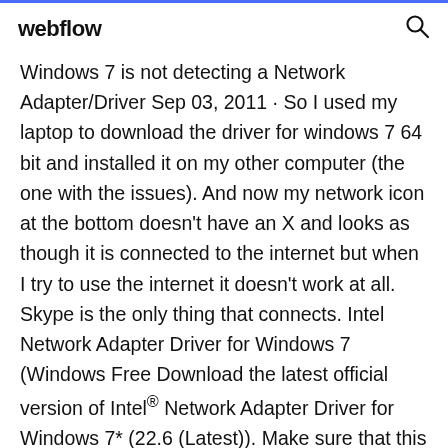webflow
Windows 7 is not detecting a Network Adapter/Driver Sep 03, 2011 · So I used my laptop to download the driver for windows 7 64 bit and installed it on my other computer (the one with the issues). And now my network icon at the bottom doesn't have an X and looks as though it is connected to the internet but when I try to use the internet it doesn't work at all. Skype is the only thing that connects. Intel Network Adapter Driver for Windows 7 (Windows Free Download the latest official version of Intel® Network Adapter Driver for Windows 7* (22.6 (Latest)). Make sure that this driver is compatible with your OS. 32 and 64 bits programs are different and you should pick